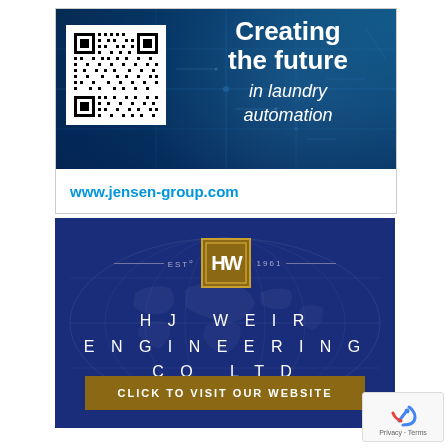[Figure (illustration): Jensen Group advertisement with blue tech/circuit board background, QR code on left, white bold text reading 'Creating the future in laundry automation', and URL www.jensen-group.com below]
[Figure (illustration): HJ Weir Engineering Co Ltd advertisement on dark blue background with world map watermark, gold badge logo with EST 1961, company name in spaced letters, and gold 'CLICK TO VISIT OUR WEBSITE' button]